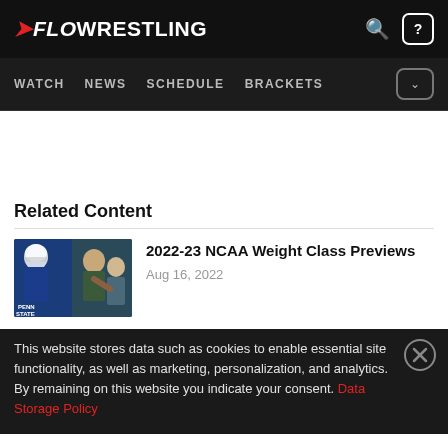FLOWRESTLING — WATCH  NEWS  SCHEDULE  BRACKETS
Related Content
[Figure (photo): Two wrestlers, one in Penn State blue singlet, another with a coach or opponent — thumbnail for NCAA weight class previews article]
2022-23 NCAA Weight Class Previews
Aug 16, 2022
This website stores data such as cookies to enable essential site functionality, as well as marketing, personalization, and analytics. By remaining on this website you indicate your consent. Data Storage Policy